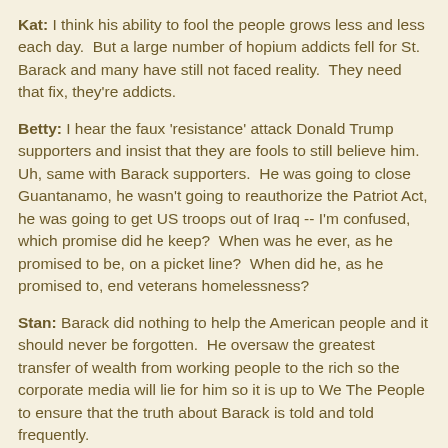Kat: I think his ability to fool the people grows less and less each day.  But a large number of hopium addicts fell for St. Barack and many have still not faced reality.  They need that fix, they're addicts.
Betty: I hear the faux 'resistance' attack Donald Trump supporters and insist that they are fools to still believe him. Uh, same with Barack supporters.  He was going to close Guantanamo, he wasn't going to reauthorize the Patriot Act, he was going to get US troops out of Iraq -- I'm confused, which promise did he keep?  When was he ever, as he promised to be, on a picket line?  When did he, as he promised to, end veterans homelessness?
Stan: Barack did nothing to help the American people and it should never be forgotten.  He oversaw the greatest transfer of wealth from working people to the rich so the corporate media will lie for him so it is up to We The People to ensure that the truth about Barack is told and told frequently.
Ruth: That Mr. Obama and the corporate media worked so hard to try to destroy Bernie Sanders is the story of 2020...